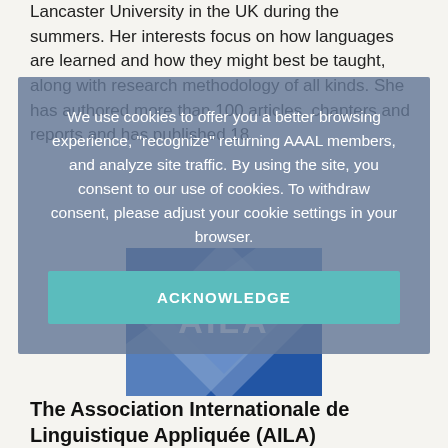Lancaster University in the UK during the summers. Her interests focus on how languages are learned and how they might best be taught, along with research methodology of all kinds. She has authored more than 100 articles, chapters and reports and has published 18
We use cookies to offer you a better browsing experience, "recognize" returning AAAL members, and analyze site traffic. By using the site, you consent to our use of cookies. To withdraw consent, please adjust your cookie settings in your browser.
ACKNOWLEDGE
[Figure (logo): AILA logo — blue and white diamond/chevron shape with the letters AILA in white on blue background]
The Association Internationale de Linguistique Appliquée (AILA)